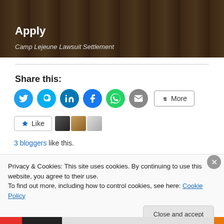[Figure (photo): Hero image with dark overlay showing outdoor scene. Bold white text 'Apply' and italic subtitle 'Camp Lejeune Lawsuit Settlement'.]
Share this:
[Figure (infographic): Row of social sharing icons: Twitter (blue), Skype (blue), LinkedIn (dark blue), Facebook (blue), WhatsApp (green), Email (grey), and a 'More' button.]
[Figure (infographic): Like button with star icon and three blogger avatar thumbnails.]
3 bloggers like this.
Privacy & Cookies: This site uses cookies. By continuing to use this website, you agree to their use.
To find out more, including how to control cookies, see here: Cookie Policy
Close and accept